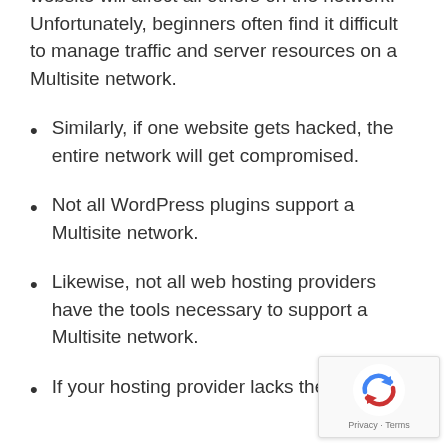website will affect all others on the network. Unfortunately, beginners often find it difficult to manage traffic and server resources on a Multisite network.
Similarly, if one website gets hacked, the entire network will get compromised.
Not all WordPress plugins support a Multisite network.
Likewise, not all web hosting providers have the tools necessary to support a Multisite network.
If your hosting provider lacks the